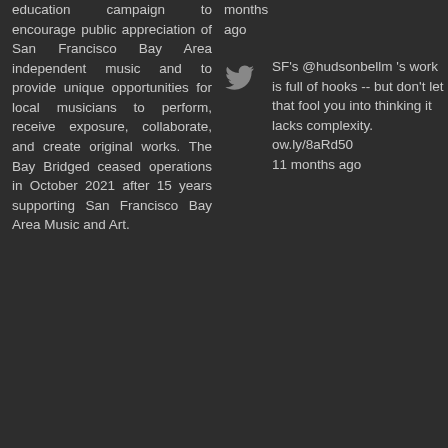education campaign to encourage public appreciation of San Francisco Bay Area independent music and to provide unique opportunities for local musicians to perform, receive exposure, collaborate, and create original works. The Bay Bridged ceased operations in October 2021 after 15 years supporting San Francisco Bay Area Music and Art.
months ago
SF's @hudsonbellm 's work is full of hooks -- but don't let that fool you into thinking it lacks complexity. ow.ly/8aRd50 11 months ago